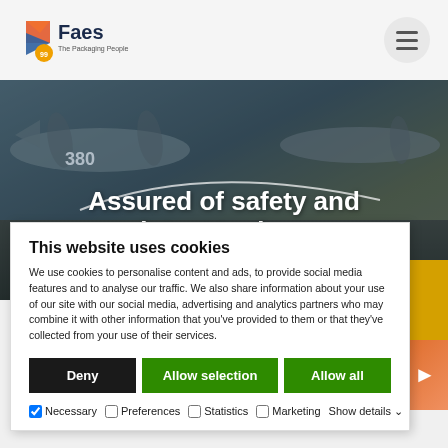[Figure (logo): Faes The Packaging People logo with orange/yellow geometric shapes and anniversary badge]
[Figure (photo): Military transport aircraft (numbered 380) on tarmac with propellers, dark overlay with white curved line]
Assured of safety and resistant to damage
Safety & security – civil
This website uses cookies
We use cookies to personalise content and ads, to provide social media features and to analyse our traffic. We also share information about your use of our site with our social media, advertising and analytics partners who may combine it with other information that you've provided to them or that they've collected from your use of their services.